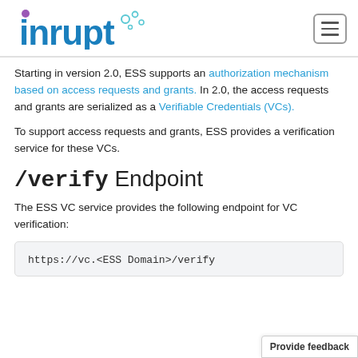inrupt logo and navigation
Starting in version 2.0, ESS supports an authorization mechanism based on access requests and grants. In 2.0, the access requests and grants are serialized as a Verifiable Credentials (VCs).
To support access requests and grants, ESS provides a verification service for these VCs.
/verify Endpoint
The ESS VC service provides the following endpoint for VC verification:
https://vc.<ESS Domain>/verify